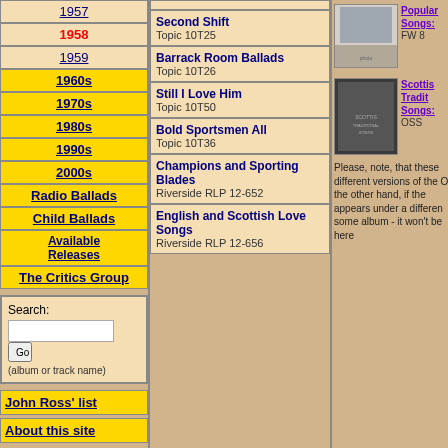1957
1958
1959
1960s
1970s
1980s
1990s
2000s
Radio Ballads
Child Ballads
Available Releases
The Critics Group
Second Shift Topic 10T25
Barrack Room Ballads Topic 10T26
Still I Love Him Topic 10T50
Bold Sportsmen All Topic 10T36
Champions and Sporting Blades Riverside RLP 12-652
English and Scottish Love Songs Riverside RLP 12-656
[Figure (photo): Album cover photo - Popular Songs, FW 8...]
Popular Songs: FW 8
[Figure (photo): Album cover - Scottish Traditional Songs, OSS]
Scottish Traditional Songs: OSS
Please, note, that these different versions of the On the other hand, if the appears under a differen some album - it won't be here
John Ross' list
About this site